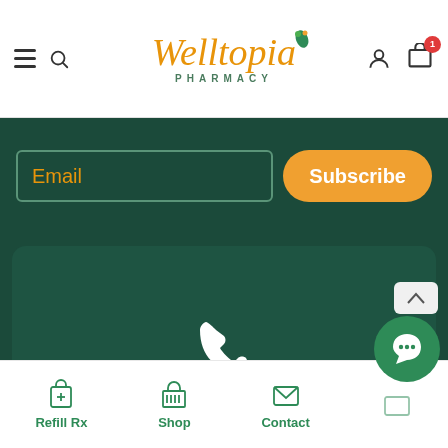Welltopia Pharmacy — navigation bar with hamburger, search, logo, account, and cart icons
[Figure (screenshot): Email subscription input box with orange 'Email' placeholder text on dark green background]
[Figure (screenshot): Orange rounded 'Subscribe' button on dark green background]
[Figure (infographic): Dark green card with white phone icon and phone number +1 262-429-9429]
+1 262-429-9429
Refill Rx | Shop | Contact — bottom navigation bar